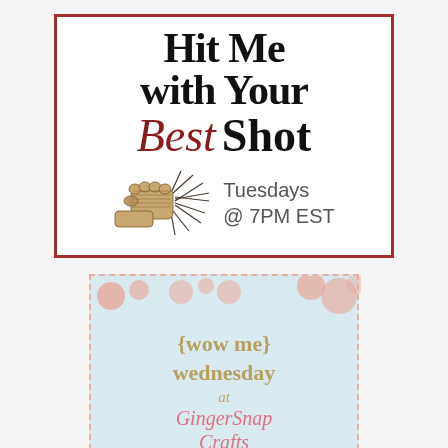[Figure (logo): Hit Me with Your Best Shot logo badge. Red border rectangle. Bold black serif text 'Hit Me with Your' on top lines, italic red cursive 'Best' and bold black 'Shot' on third line. Bottom half shows a vintage engraving of a punching fist with star-burst impact lines on left, and text 'Tuesdays @ 7PM EST' on right.]
[Figure (logo): Wow Me Wednesday at GingerSnap Crafts logo. Light blue background with pink dashed border. Decorative orange/pink circles at top. Olive/yellow-green text '{wow me} wednesday' in center, italic small 'at' below, then pink italic script 'GingerSnap Crafts'.]